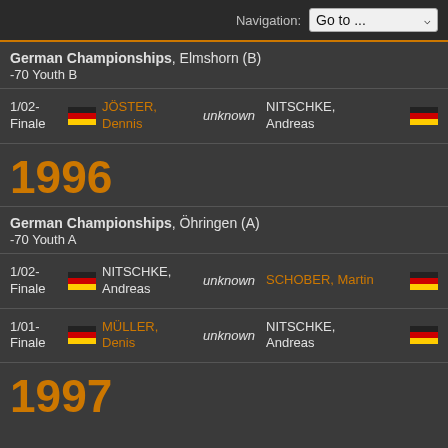Navigation: Go to ...
German Championships, Elmshorn (B)
-70 Youth B
| Round | Flag | Winner | Score | Loser | Flag |
| --- | --- | --- | --- | --- | --- |
| 1/02-Finale | 🇩🇪 | JÖSTER, Dennis | unknown | NITSCHKE, Andreas | 🇩🇪 |
1996
German Championships, Öhringen (A)
-70 Youth A
| Round | Flag | Winner | Score | Loser | Flag |
| --- | --- | --- | --- | --- | --- |
| 1/02-Finale | 🇩🇪 | NITSCHKE, Andreas | unknown | SCHOBER, Martin | 🇩🇪 |
| 1/01-Finale | 🇩🇪 | MÜLLER, Denis | unknown | NITSCHKE, Andreas | 🇩🇪 |
1997